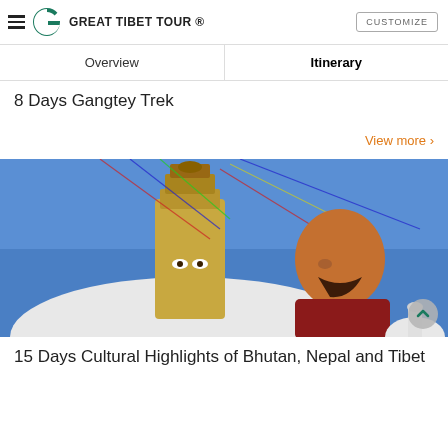GREAT TIBET TOUR ®
Overview | Itinerary
8 Days Gangtey Trek
View more ›
[Figure (photo): A young smiling Buddhist monk in front of a large stupa with prayer flags against a blue sky, likely Boudhanath or Swayambhunath stupa in Nepal.]
15 Days Cultural Highlights of Bhutan, Nepal and Tibet